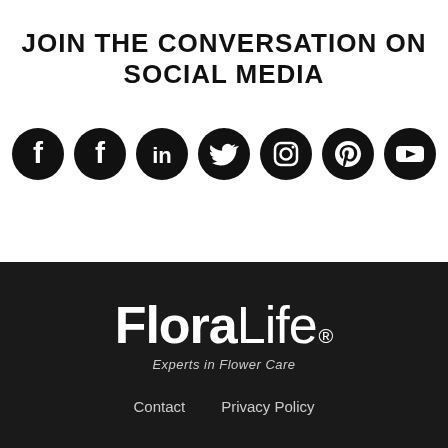JOIN THE CONVERSATION ON SOCIAL MEDIA
[Figure (infographic): Row of 7 social media icons (Facebook, Facebook, LinkedIn, Twitter, Instagram, Pinterest, YouTube) as black circles with white logos]
[Figure (logo): FloraLife logo with registered trademark symbol and tagline 'Experts in Flower Care' on dark background]
Contact   Privacy Policy